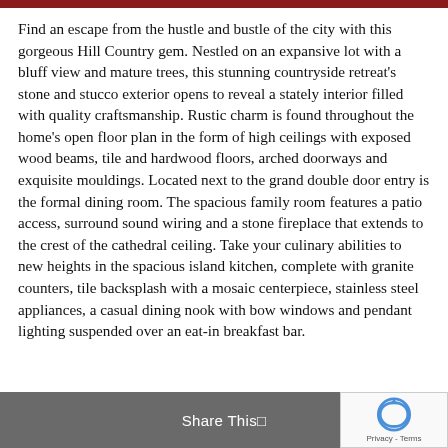Find an escape from the hustle and bustle of the city with this gorgeous Hill Country gem. Nestled on an expansive lot with a bluff view and mature trees, this stunning countryside retreat's stone and stucco exterior opens to reveal a stately interior filled with quality craftsmanship. Rustic charm is found throughout the home's open floor plan in the form of high ceilings with exposed wood beams, tile and hardwood floors, arched doorways and exquisite mouldings. Located next to the grand double door entry is the formal dining room. The spacious family room features a patio access, surround sound wiring and a stone fireplace that extends to the crest of the cathedral ceiling. Take your culinary abilities to new heights in the spacious island kitchen, complete with granite counters, tile backsplash with a mosaic centerpiece, stainless steel appliances, a casual dining nook with bow windows and pendant lighting suspended over an eat-in breakfast bar.
Share This